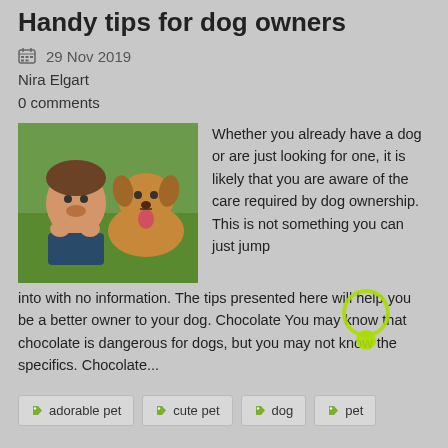Handy tips for dog owners
📅 29 Nov 2019
Nira Elgart
0 comments
[Figure (photo): A smiling boy lying on grass next to a golden retriever dog with its tongue out]
Whether you already have a dog or are just looking for one, it is likely that you are aware of the care required by dog ownership. This is not something you can just jump into with no information. The tips presented here will help you be a better owner to your dog. Chocolate You may know that chocolate is dangerous for dogs, but you may not know the specifics. Chocolate...
adorable pet   cute pet   dog   pet